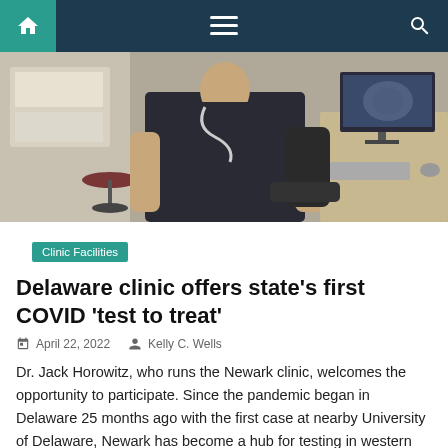Navigation bar with home, menu, and search icons
[Figure (photo): A medical professional wearing a dark uniform with a stethoscope standing in a clinic exam room with a desk, computer monitor showing an x-ray, keyboard, and office chair visible in the background.]
Clinic Facilities
Delaware clinic offers state's first COVID 'test to treat'
April 22, 2022   Kelly C. Wells
Dr. Jack Horowitz, who runs the Newark clinic, welcomes the opportunity to participate. Since the pandemic began in Delaware 25 months ago with the first case at nearby University of Delaware, Newark has become a hub for testing in western New Castle County. Caregivers there administered more than 45,000 tests. In an interview